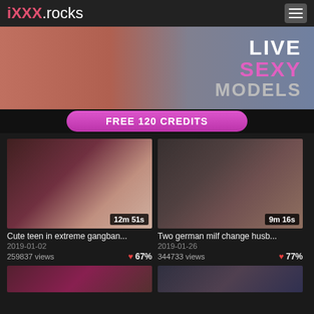iXXX.rocks
[Figure (photo): Adult website banner advertisement with 'LIVE SEXY MODELS' text and 'FREE 120 CREDITS' button]
[Figure (photo): Video thumbnail: Cute teen in extreme gangban... — 12m 51s duration]
Cute teen in extreme gangban...
2019-01-02
259837 views   67%
[Figure (photo): Video thumbnail: Two german milf change husb... — 9m 16s duration]
Two german milf change husb...
2019-01-26
344733 views   77%